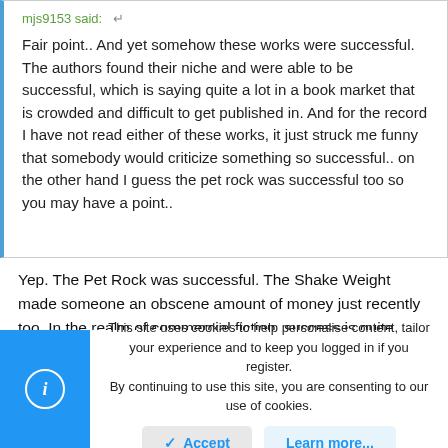mjs9153 said:
Fair point.. And yet somehow these works were successful. The authors found their niche and were able to be successful, which is saying quite a lot in a book market that is crowded and difficult to get published in. And for the record I have not read either of these works, it just struck me funny that somebody would criticize something so successful.. on the other hand I guess the pet rock was successful too so you may have a point..
Yep. The Pet Rock was successful. The Shake Weight made someone an obscene amount of money just recently too. In the realm of commercial fiction, success is quite often about marketing or simply having an interesting idea that gets optioned to film. A movie will often make a published work that is not successful into a powerhouse. Modern social media can turn horrible fan fiction or
This site uses cookies to help personalise content, tailor your experience and to keep you logged in if you register.
By continuing to use this site, you are consenting to our use of cookies.
Accept
Learn more...